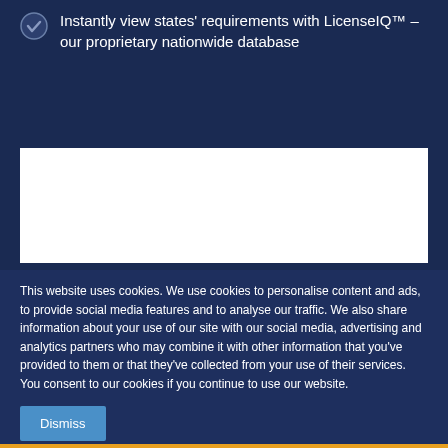Instantly view states' requirements with LicenseIQ™ – our proprietary nationwide database
[Figure (other): White rectangular content box placeholder]
This website uses cookies. We use cookies to personalise content and ads, to provide social media features and to analyse our traffic. We also share information about your use of our site with our social media, advertising and analytics partners who may combine it with other information that you've provided to them or that they've collected from your use of their services. You consent to our cookies if you continue to use our website.
Dismiss